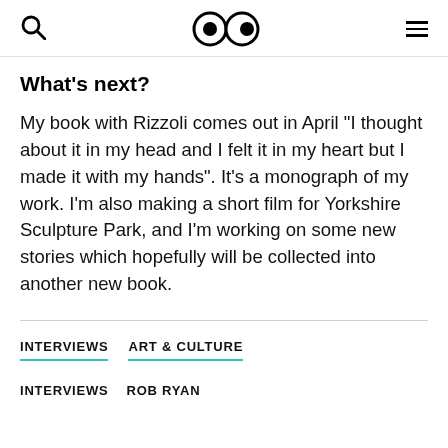🔍 👀 ☰
What's next?
My book with Rizzoli comes out in April "I thought about it in my head and I felt it in my heart but I made it with my hands". It's a monograph of my work. I'm also making a short film for Yorkshire Sculpture Park, and I'm working on some new stories which hopefully will be collected into another new book.
INTERVIEWS   ART & CULTURE
INTERVIEWS   ROB RYAN